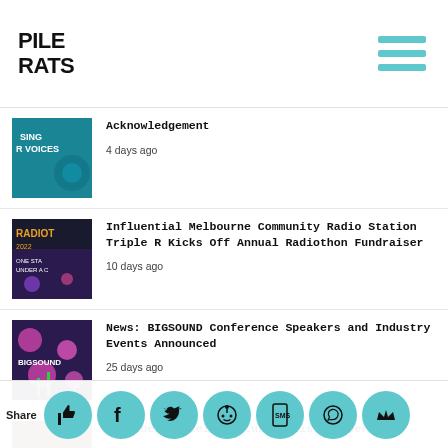PILE RATS
Acknowledgement · 4 days ago
Influential Melbourne Community Radio Station Triple R Kicks Off Annual Radiothon Fundraiser · 10 days ago
News: BIGSOUND Conference Speakers and Industry Events Announced · 25 days ago
Strawberry Fields returns this October! · 1 day ago
Share